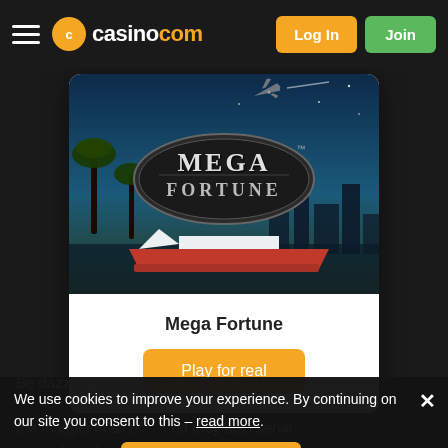casino.com — Log In | Join
[Figure (screenshot): Mega Fortune slot game promotional image with dark background, palm trees, yacht, airplane, and city skyline at night. Large oval logo with 'MEGA FORTUNE' text in metallic styling.]
Mega Fortune
Play for real
Be dazzled, amazed, and captivated by the ... the magpie in all of ... nd they also serve as the foundation of many popular slot games releas... evelopers like Playtech, NetEnt and Micro...
We use cookies to improve your experience. By continuing on our site you consent to this – read more.
OK